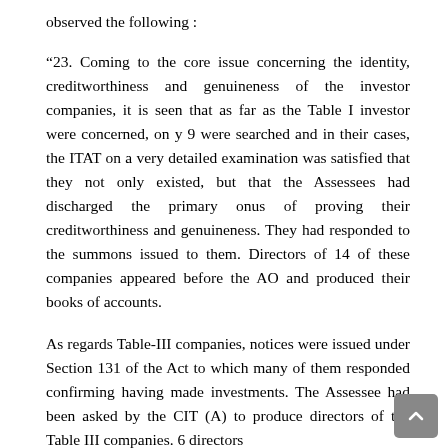observed the following :
“23. Coming to the core issue concerning the identity, creditworthiness and genuineness of the investor companies, it is seen that as far as the Table I investor were concerned, on y 9 were searched and in their cases, the ITAT on a very detailed examination was satisfied that they not only existed, but that the Assessees had discharged the primary onus of proving their creditworthiness and genuineness. They had responded to the summons issued to them. Directors of 14 of these companies appeared before the AO and produced their books of accounts.
As regards Table-III companies, notices were issued under Section 131 of the Act to which many of them responded confirming having made investments. The Assessee had been asked by the CIT (A) to produce directors of the Table III companies. 6 directors